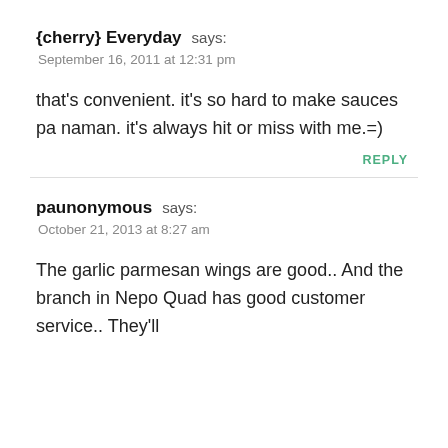{cherry} Everyday says:
September 16, 2011 at 12:31 pm
that's convenient. it's so hard to make sauces pa naman. it's always hit or miss with me.=)
REPLY
paunonymous says:
October 21, 2013 at 8:27 am
The garlic parmesan wings are good.. And the branch in Nepo Quad has good customer service.. They'll